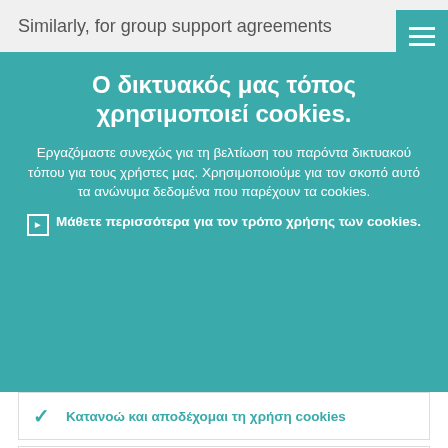Similarly, for group support agreements
Ο δικτυακός μας τόπος χρησιμοποιεί cookies.
Εργαζόμαστε συνεχώς για τη βελτίωση του παρόντα δικτυακού τόπου για τους χρήστες μας. Χρησιμοποιούμε για τον σκοπό αυτό τα ανώνυμα δεδομένα που παρέχουν τα cookies.
Μάθετε περισσότερα για τον τρόπο χρήσης των cookies.
Κατανοώ και αποδέχομαι τη χρήση cookies
Δεν αποδέχομαι τη χρήση cookies